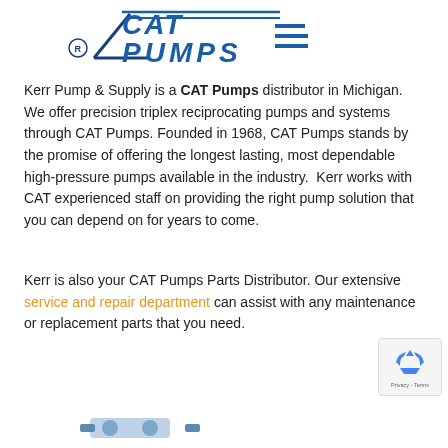[Figure (logo): CAT Pumps logo with registered trademark symbol, blue stylized text]
Kerr Pump & Supply is a CAT Pumps distributor in Michigan. We offer precision triplex reciprocating pumps and systems through CAT Pumps. Founded in 1968, CAT Pumps stands by the promise of offering the longest lasting, most dependable high-pressure pumps available in the industry.  Kerr works with CAT experienced staff on providing the right pump solution that you can depend on for years to come.
Kerr is also your CAT Pumps Parts Distributor. Our extensive service and repair department can assist with any maintenance or replacement parts that you need.
[Figure (other): Partial image of a CAT pump visible at the bottom of the page]
[Figure (other): reCAPTCHA badge with recycling arrow icon and Privacy - Terms text]